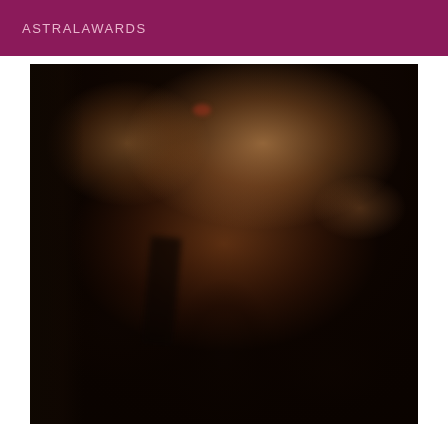ASTRALAWARDS
[Figure (photo): Clinical photograph showing the torso/chest and abdomen of a dark-skinned individual, photographed from the front. The image shows skin with some reddish marks and discoloration on the upper chest area. The lower portion of the image is darker. The subject appears to be unclothed from the waist up.]